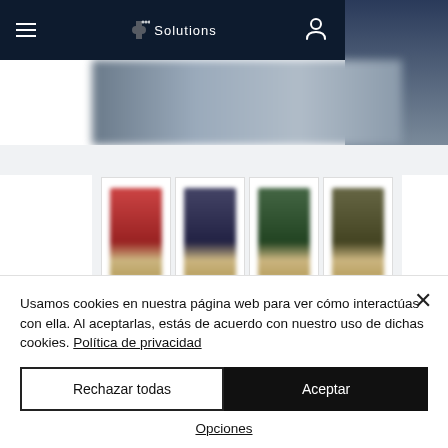[Figure (screenshot): Website screenshot showing a navigation bar with hamburger menu, puzzle-piece logo with 'Solutions' text, and user icon on dark navy background. Below are blurred product images on a white background.]
Usamos cookies en nuestra página web para ver cómo interactúas con ella. Al aceptarlas, estás de acuerdo con nuestro uso de dichas cookies. Política de privacidad
Rechazar todas
Aceptar
Opciones